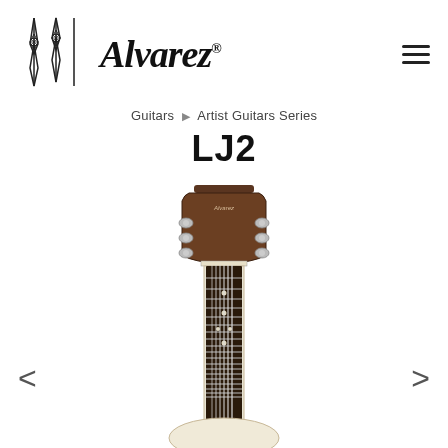[Figure (logo): Alvarez Guitars logo with decorative symbol and italic Alvarez wordmark with registered trademark]
Guitars ▶ Artist Guitars Series
LJ2
[Figure (photo): Acoustic guitar (Alvarez LJ2) showing the headstock with tuning pegs and the fretboard/neck, natural finish body partially visible at bottom]
< navigation arrow left
> navigation arrow right